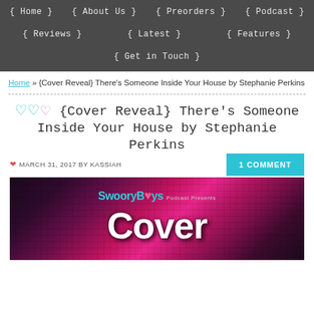{ Home } { About Us } { Preorders } { Podcast } { Reviews } { Latest } { Features } { Get in Touch }
Home » {Cover Reveal} There's Someone Inside Your House by Stephanie Perkins
{Cover Reveal} There's Someone Inside Your House by Stephanie Perkins
MARCH 31, 2017 BY KASSIAH
1 COMMENT
[Figure (photo): SwooryBoys Podcast Presents banner with pink and magenta pixel/mosaic background and large white 'Cover' text]